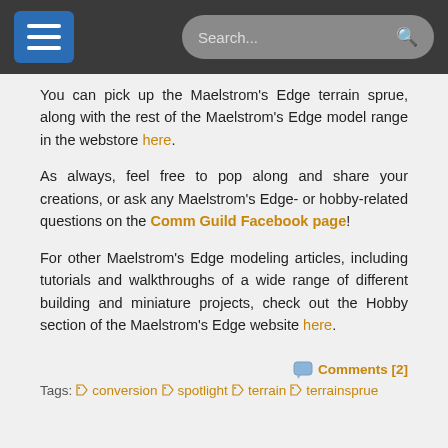Navigation bar with hamburger menu and search
You can pick up the Maelstrom's Edge terrain sprue, along with the rest of the Maelstrom's Edge model range in the webstore here.
As always, feel free to pop along and share your creations, or ask any Maelstrom's Edge- or hobby-related questions on the Comm Guild Facebook page!
For other Maelstrom's Edge modeling articles, including tutorials and walkthroughs of a wide range of different building and miniature projects, check out the Hobby section of the Maelstrom's Edge website here.
Comments [2] | Tags: conversion spotlight terrain terrainsprue